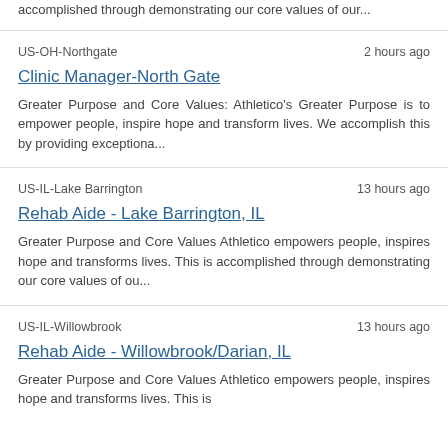accomplished through demonstrating our core values of our...
US-OH-Northgate
2 hours ago
Clinic Manager-North Gate
Greater Purpose and Core Values: Athletico's Greater Purpose is to empower people, inspire hope and transform lives. We accomplish this by providing exceptiona...
US-IL-Lake Barrington
13 hours ago
Rehab Aide - Lake Barrington, IL
Greater Purpose and Core Values Athletico empowers people, inspires hope and transforms lives. This is accomplished through demonstrating our core values of ou...
US-IL-Willowbrook
13 hours ago
Rehab Aide - Willowbrook/Darian, IL
Greater Purpose and Core Values Athletico empowers people, inspires hope and transforms lives. This is